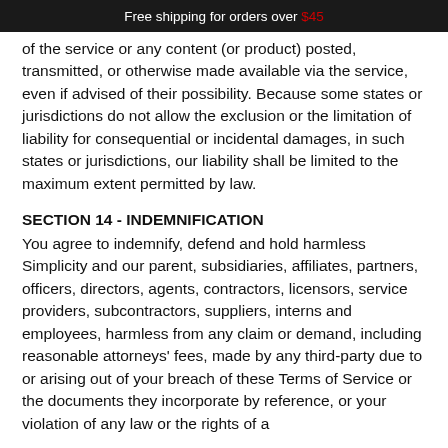Free shipping for orders over $45
of the service or any content (or product) posted, transmitted, or otherwise made available via the service, even if advised of their possibility. Because some states or jurisdictions do not allow the exclusion or the limitation of liability for consequential or incidental damages, in such states or jurisdictions, our liability shall be limited to the maximum extent permitted by law.
SECTION 14 - INDEMNIFICATION
You agree to indemnify, defend and hold harmless Simplicity and our parent, subsidiaries, affiliates, partners, officers, directors, agents, contractors, licensors, service providers, subcontractors, suppliers, interns and employees, harmless from any claim or demand, including reasonable attorneys' fees, made by any third-party due to or arising out of your breach of these Terms of Service or the documents they incorporate by reference, or your violation of any law or the rights of a